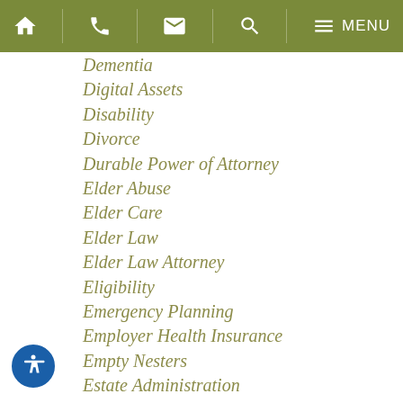Navigation bar with home, phone, mail, search, menu icons
Dementia
Digital Assets
Disability
Divorce
Durable Power of Attorney
Elder Abuse
Elder Care
Elder Law
Elder Law Attorney
Eligibility
Emergency Planning
Employer Health Insurance
Empty Nesters
Estate Administration
Estate Litigation
Estate Planning
Estate Planning Attorney
Estate Taxes
Executor/rix
Fiduciary(ies)
Financial Abuse